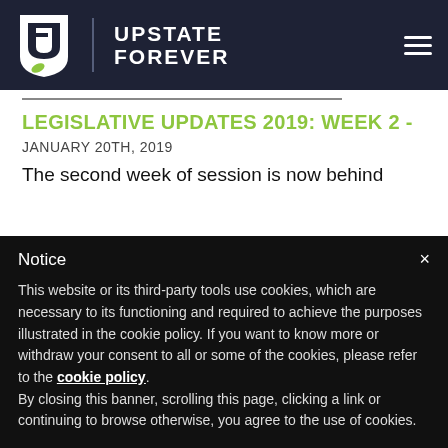Upstate Forever
LEGISLATIVE UPDATES 2019: WEEK 2 - JANUARY 20TH, 2019
The second week of session is now behind
Notice

This website or its third-party tools use cookies, which are necessary to its functioning and required to achieve the purposes illustrated in the cookie policy. If you want to know more or withdraw your consent to all or some of the cookies, please refer to the cookie policy.
By closing this banner, scrolling this page, clicking a link or continuing to browse otherwise, you agree to the use of cookies.